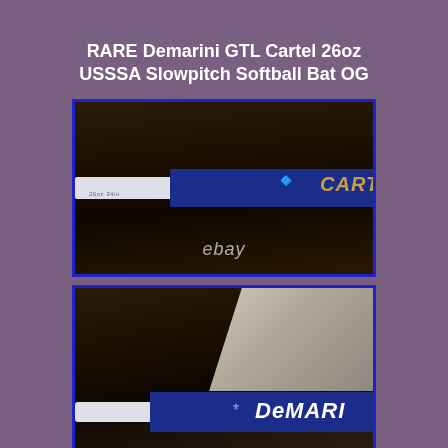RARE Demarini GTL Cartel 26oz USSSA Slowpitch Softball Bat OG
[Figure (photo): Close-up photo of a blue and white Demarini GTL Cartel softball bat showing the barrel with gold 'CARTEL' lettering, with an eBay watermark at the bottom]
[Figure (photo): Close-up photo of the same Demarini softball bat from a different angle showing the 'DeMarini' brand name in white text on the blue barrel, with a light surface visible in the background]